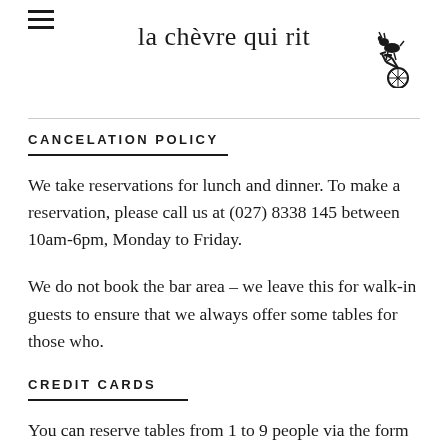la chèvre qui rit
CANCELATION POLICY
We take reservations for lunch and dinner. To make a reservation, please call us at (027) 8338 145 between 10am-6pm, Monday to Friday.
We do not book the bar area – we leave this for walk-in guests to ensure that we always offer some tables for those who.
CREDIT CARDS
You can reserve tables from 1 to 9 people via the form above. If there is no availability showing, please contact the restaurant directly as we may be able to assist.